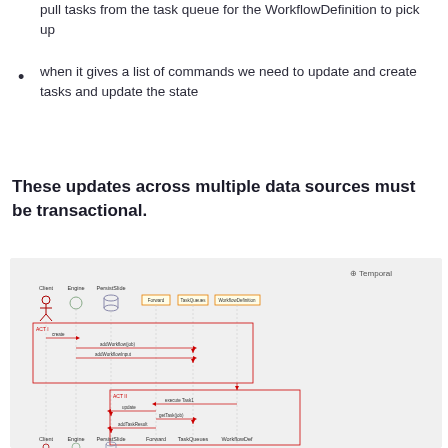pull tasks from the task queue for the WorkflowDefinition to pick up
when it gives a list of commands we need to update and create tasks and update the state
These updates across multiple data sources must be transactional.
[Figure (sequence-diagram): UML sequence diagram showing two interaction frames. Top frame labeled 'ACT' shows interactions between Client, Engine, PersistenceSlide, Forward, TaskQueues, and WorkflowDefinition actors — including create, addWorkflow(job), and addWorkflowInput steps. Bottom frame labeled 'ACT II' shows execute Task1, update, getTask(job), and addTaskResult steps. Temporal logo visible top right.]